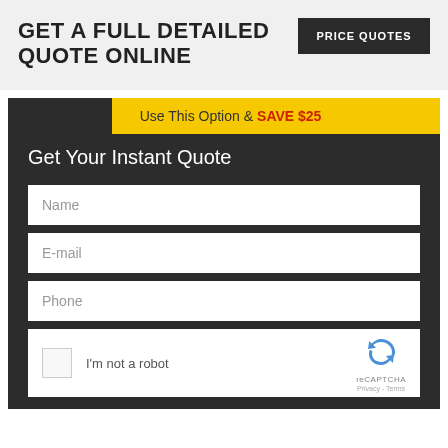GET A FULL DETAILED QUOTE ONLINE
PRICE QUOTES
Use This Option & SAVE $25
Get Your Instant Quote
Name
E-mail
Phone
I'm not a robot
reCAPTCHA
Privacy - Terms